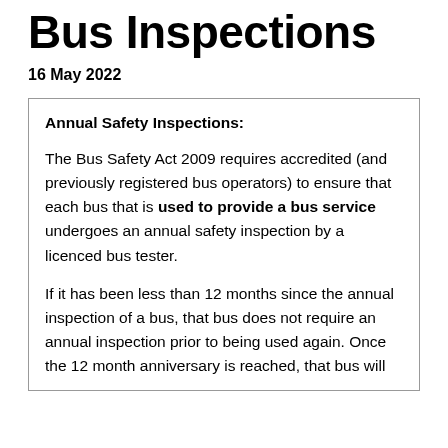Bus Inspections
16 May 2022
Annual Safety Inspections:
The Bus Safety Act 2009 requires accredited (and previously registered bus operators) to ensure that each bus that is used to provide a bus service undergoes an annual safety inspection by a licenced bus tester.
If it has been less than 12 months since the annual inspection of a bus, that bus does not require an annual inspection prior to being used again. Once the 12 month anniversary is reached, that bus will the need to it……